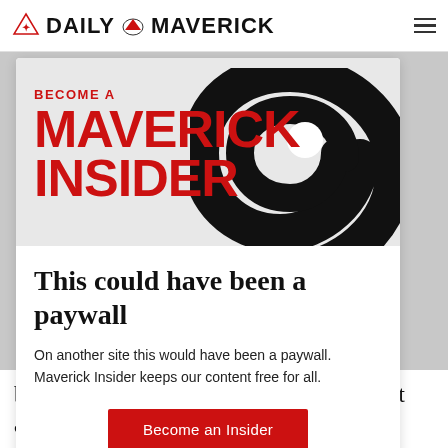DAILY MAVERICK
[Figure (logo): Daily Maverick logo with eagle emblem and site name in bold black serif capitals]
[Figure (illustration): Large black spiral/swirl graphic on light grey background with red 'BECOME A MAVERICK INSIDER' promotional text overlay]
This could have been a paywall
On another site this would have been a paywall. Maverick Insider keeps our content free for all.
Become an Insider
because they may further weaken the fight against